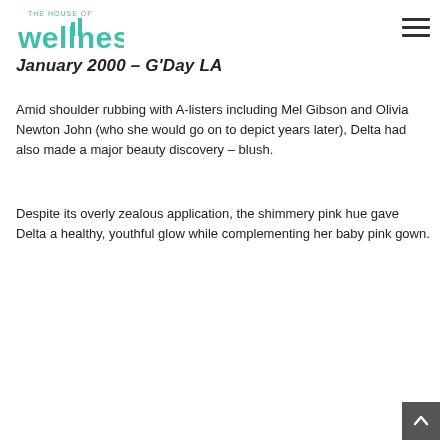The House of Wellness
January 2000 – G'Day LA
Amid shoulder rubbing with A-listers including Mel Gibson and Olivia Newton John (who she would go on to depict years later), Delta had also made a major beauty discovery – blush.
Despite its overly zealous application, the shimmery pink hue gave Delta a healthy, youthful glow while complementing her baby pink gown.